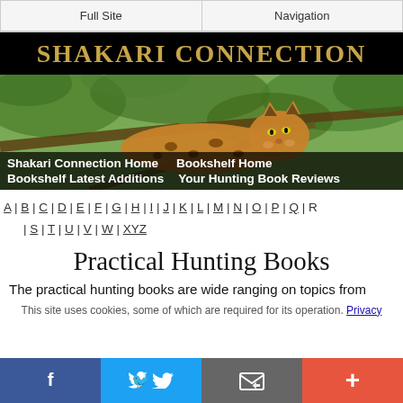Full Site | Navigation
SHAKARI CONNECTION
[Figure (photo): Close-up photo of a leopard resting in a tree with foliage in the background]
Shakari Connection Home   Bookshelf Home   Bookshelf Latest Additions   Your Hunting Book Reviews
A | B | C | D | E | F | G | H | I | J | K | L | M | N | O | P | Q | R | S | T | U | V | W | XYZ
Practical Hunting Books
The practical hunting books are wide ranging on topics from
This site uses cookies, some of which are required for its operation. Privacy
f  Twitter  Email  +